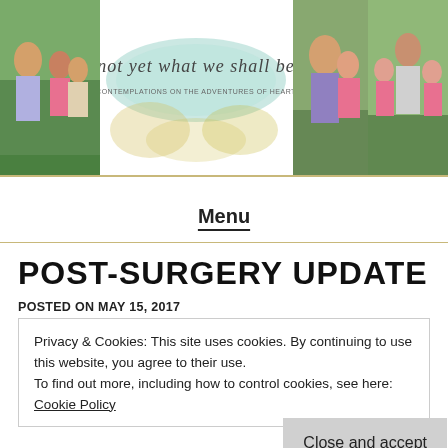[Figure (photo): Blog header banner with family photos on left and right, and a script logo in the center reading 'not yet what we shall be - contemplations on the adventures of heart']
Menu
POST-SURGERY UPDATE
POSTED ON MAY 15, 2017
Privacy & Cookies: This site uses cookies. By continuing to use this website, you agree to their use.
To find out more, including how to control cookies, see here: Cookie Policy
Close and accept
It's been a while since I've written – too long – and I miss this space. I have more to say and share here.